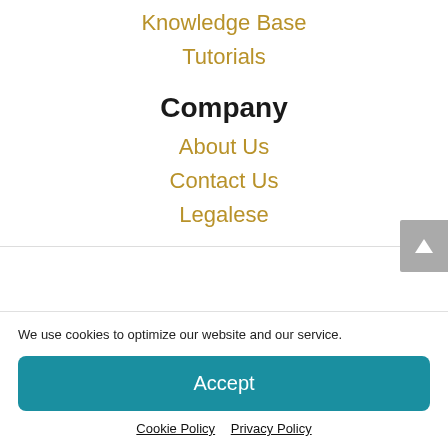Knowledge Base
Tutorials
Company
About Us
Contact Us
Legalese
We use cookies to optimize our website and our service.
Accept
Cookie Policy   Privacy Policy